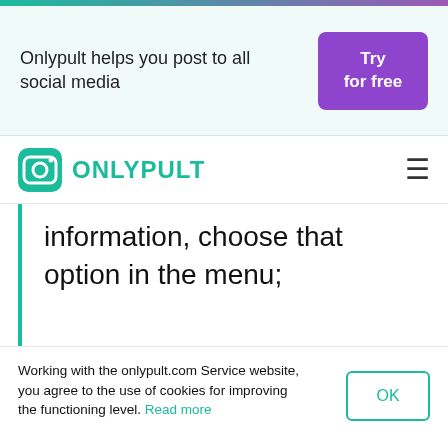Onlypult helps you post to all social media  Try for free
[Figure (logo): Onlypult logo — teal camera icon and ONLYPULT text in teal, with hamburger menu icon on the right]
information, choose that option in the menu;
Working with the onlypult.com Service website, you agree to the use of cookies for improving the functioning level.  Read more